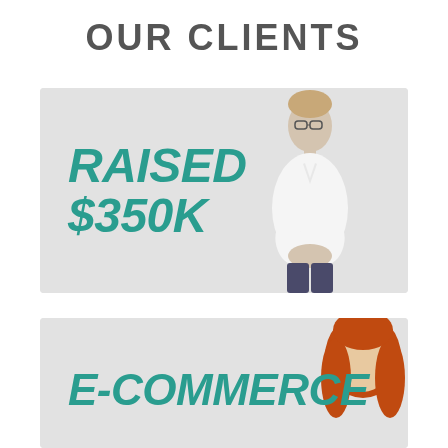OUR CLIENTS
[Figure (photo): Card with teal bold italic text 'RAISED $350K' on left and a man in white shirt standing in center against light gray background]
[Figure (photo): Card with teal bold italic text 'E-COMMERCE' on left and a woman with red/auburn hair partially visible on right against light gray background]